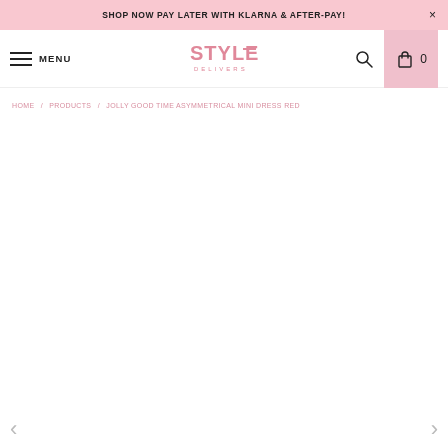SHOP NOW PAY LATER WITH KLARNA & AFTER-PAY!
MENU | STYLE DELIVERS | Search | Cart 0
HOME / PRODUCTS / JOLLY GOOD TIME ASYMMETRICAL MINI DRESS RED